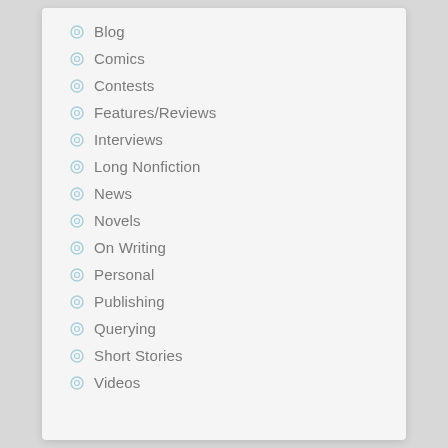Blog
Comics
Contests
Features/Reviews
Interviews
Long Nonfiction
News
Novels
On Writing
Personal
Publishing
Querying
Short Stories
Videos